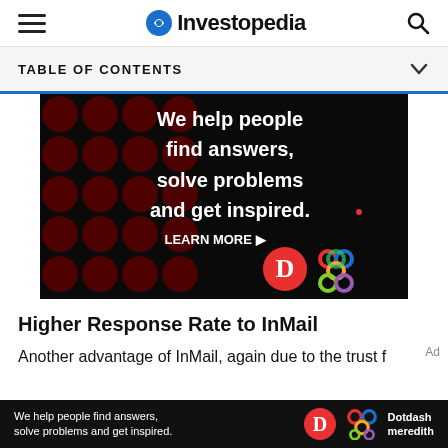Investopedia
TABLE OF CONTENTS
[Figure (photo): Advertisement banner with dark background and red polka dot pattern. Text reads: 'We help people find answers, solve problems and get inspired. LEARN MORE' with Dotdash and Meredith logos.]
Higher Response Rate to InMail
Another advantage of InMail, again due to the trust f...
[Figure (photo): Bottom advertisement banner: 'We help people find answers, solve problems and get inspired.' with Dotdash Meredith logo.]